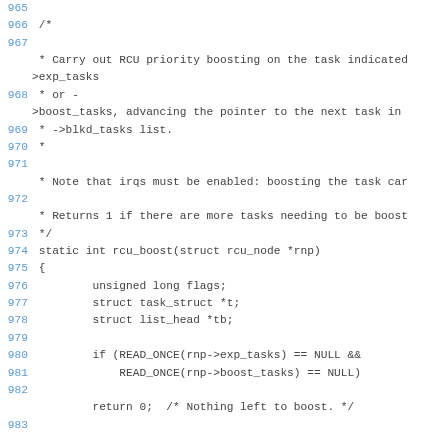[Figure (screenshot): Source code listing showing C code for rcu_boost function with line numbers 965-983. Lines include a block comment describing RCU priority boosting behavior and the beginning of the static int rcu_boost function definition with variable declarations and an early-return condition.]